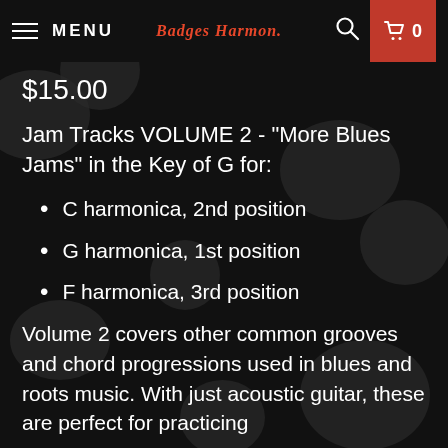MENU | Badges Harmon | Search | Cart 0
$15.00
Jam Tracks VOLUME 2 - "More Blues Jams" in the Key of G for:
C harmonica, 2nd position
G harmonica, 1st position
F harmonica, 3rd position
Volume 2 covers other common grooves and chord progressions used in blues and roots music. With just acoustic guitar, these are perfect for practicing